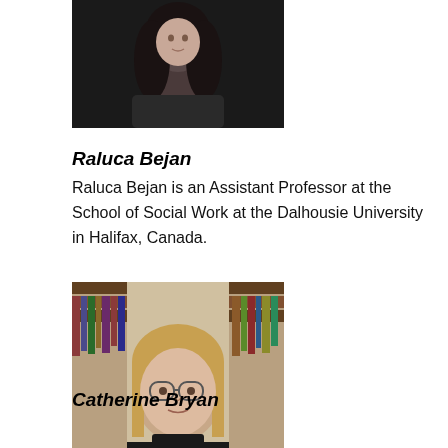[Figure (photo): Black and white portrait photo of Raluca Bejan with long dark curly hair]
Raluca Bejan
Raluca Bejan is an Assistant Professor at the School of Social Work at the Dalhousie University in Halifax, Canada.
[Figure (photo): Color portrait photo of Catherine Bryan with straight hair and glasses, with bookshelves in background]
Catherine Bryan
Catherine Bryan is an anthropologist and assistant professor at Dalhousie University's School of Social Work in Halifax, Canada. Her research focuses on labour